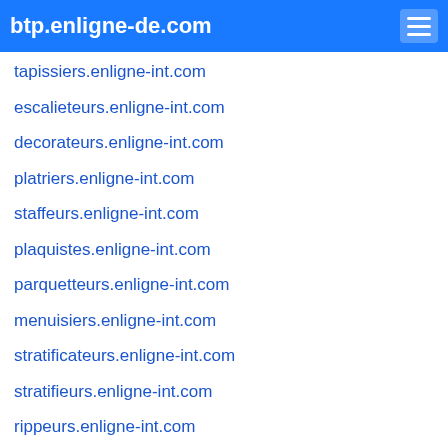btp.enligne-de.com
tapissiers.enligne-int.com
escalieteurs.enligne-int.com
decorateurs.enligne-int.com
platriers.enligne-int.com
staffeurs.enligne-int.com
plaquistes.enligne-int.com
parquetteurs.enligne-int.com
menuisiers.enligne-int.com
stratificateurs.enligne-int.com
stratifieurs.enligne-int.com
rippeurs.enligne-int.com
vitriers.enligne-int.com
peintres.enligne-int.com